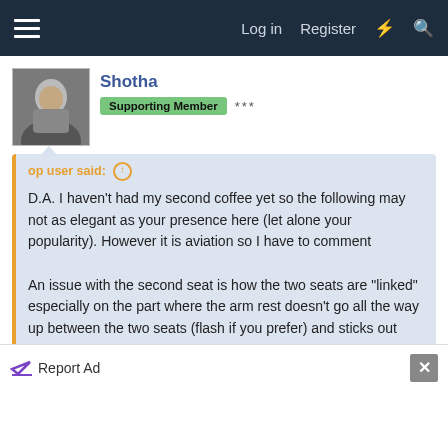Log in  Register
[Figure (photo): Avatar photo of user Shotha, a person in a grey shirt]
Shotha
Supporting Member  ***
op user said: ↑
D.A. I haven't had my second coffee yet so the following may not as elegant as your presence here (let alone your popularity). However it is aviation so I have to comment

An issue with the second seat is how the two seats are "linked" especially on the part where the arm rest doesn't go all the way up between the two seats (flash if you prefer) and sticks out between the seat backs... Click to expand...
I wish that the tables in KFC could be lifted up and down.
Report Ad